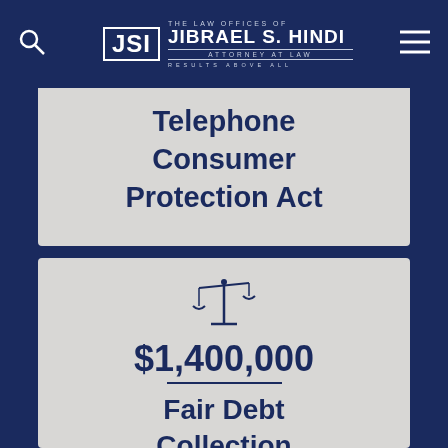The Law Offices of Jibrael S. Hindi – Attorney at Law – Results Above All
Telephone Consumer Protection Act
[Figure (illustration): Balance/scales of justice icon in navy blue]
$1,400,000
Fair Debt Collection